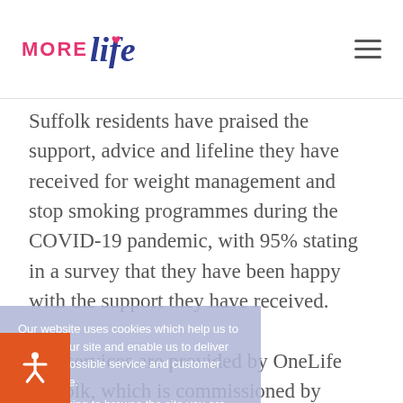MORE Life
Suffolk residents have praised the support, advice and lifeline they have received for weight management and stop smoking programmes during the COVID-19 pandemic, with 95% stating in a survey that they have been happy with the support they have received.
Our website uses cookies which help us to improve our site and enable us to deliver the best possible service and customer experience.
By continuing to browse the site you are agreeing to our use of cookies. Find out more about the cookies we use on our
The services are provided by OneLife Suffolk, which is commissioned by Suffolk County Council to deliver an Integrated Healthy Lifestyle Service across the county. This includes Stop Smoking Clinics, Weight Management